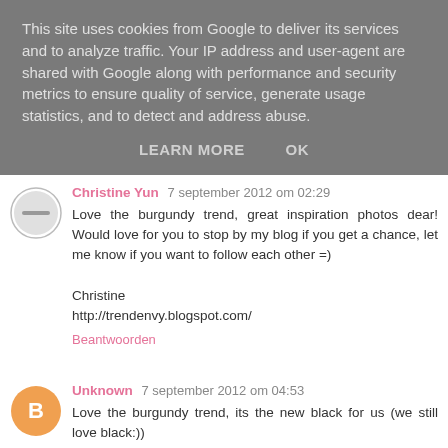This site uses cookies from Google to deliver its services and to analyze traffic. Your IP address and user-agent are shared with Google along with performance and security metrics to ensure quality of service, generate usage statistics, and to detect and address abuse.
LEARN MORE   OK
Christine Yun 7 september 2012 om 02:29
Love the burgundy trend, great inspiration photos dear! Would love for you to stop by my blog if you get a chance, let me know if you want to follow each other =)

Christine
http://trendenvy.blogspot.com/
Beantwoorden
Unknown 7 september 2012 om 04:53
Love the burgundy trend, its the new black for us (we still love black:))